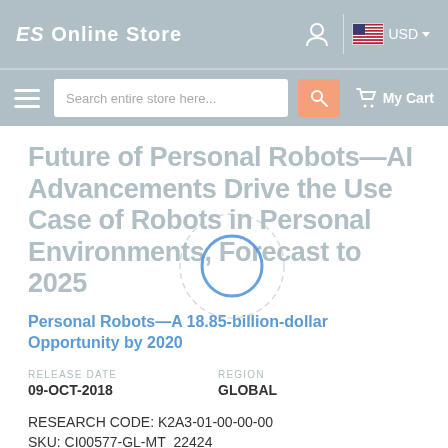ES Online Store — USD (USD dropdown) — user icon — US flag
hamburger menu — Search entire store here... — search button — My Cart
Future of Personal Robots—AI Advancements Drive the Use Case of Robots in Personal Environments, Forecast to 2025
Personal Robots—A 18.85-billion-dollar Opportunity by 2020
RELEASE DATE
09-OCT-2018
REGION
GLOBAL
RESEARCH CODE: K2A3-01-00-00-00
SKU: CI00577-GL-MT_22424